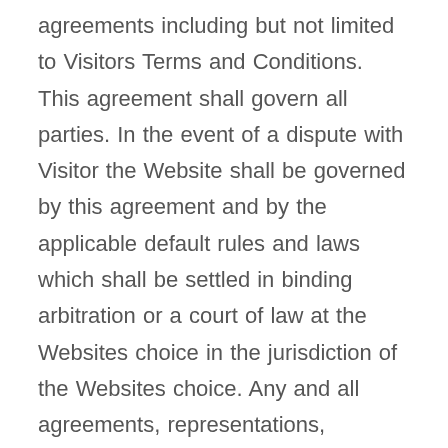agreements including but not limited to Visitors Terms and Conditions. This agreement shall govern all parties. In the event of a dispute with Visitor the Website shall be governed by this agreement and by the applicable default rules and laws which shall be settled in binding arbitration or a court of law at the Websites choice in the jurisdiction of the Websites choice. Any and all agreements, representations, promises, warranties, actions, or statements by Visitors website or other proposed agreement that differ in any way from the terms of this agreement shall be given no force or effect. All visitors including resellers, intermediarys,affiliates, joint venture partners, publishers, advertisers, online